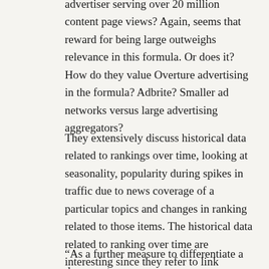advertiser serving over 20 million content page views? Again, seems that reward for being large outweighs relevance in this formula. Or does it? How do they value Overture advertising in the formula? Adbrite? Smaller ad networks versus large advertising aggregators?
They extensively discuss historical data related to rankings over time, looking at seasonality, popularity during spikes in traffic due to news coverage of a particular topics and changes in ranking related to those items. The historical data related to ranking over time are interesting since they refer to link spamming, relevance, and topicality when they say:
“As a further measure to differentiate a document